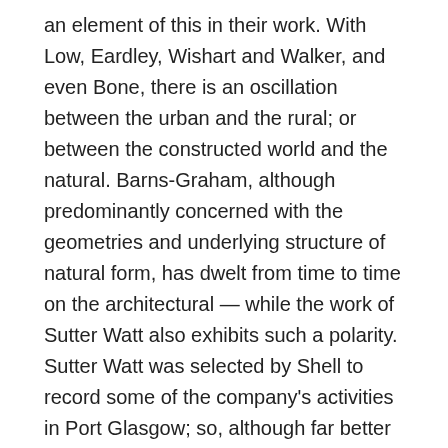an element of this in their work. With Low, Eardley, Wishart and Walker, and even Bone, there is an oscillation between the urban and the rural; or between the constructed world and the natural. Barns-Graham, although predominantly concerned with the geometries and underlying structure of natural form, has dwelt from time to time on the architectural — while the work of Sutter Watt also exhibits such a polarity. Sutter Watt was selected by Shell to record some of the company's activities in Port Glasgow; so, although far better known as a lyrical painter of landscape, still-life and seascape, his scope extended beyond this to the world of the constructed and the engineered.
Downie's subject matter therefore inherits such dichotomies and expands upon them; although largely un-peopled, her work nevertheless rarely, if ever, fails to record a human presence. And while her subject matter here embraces the rawness of the winter sea or the desolation of two days spent alone on a yard island (Eilean Munde on Loch Leven) the fact that we are